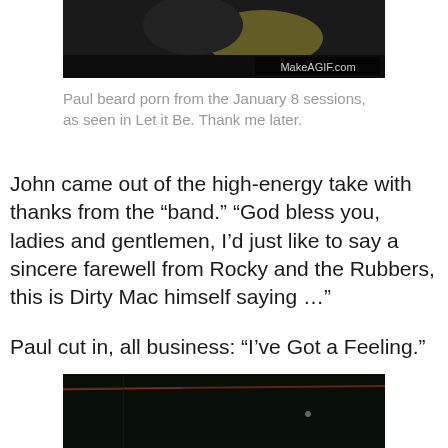[Figure (photo): Dark close-up photo with a watermark 'MakeAGIF.com' in the bottom-right corner]
Paul beard porn from the January 8 sessions, as seen in Let it Be. Thank me later.
John came out of the high-energy take with thanks from the “band.” “God bless you, ladies and gentlemen, I’d just like to say a sincere farewell from Rocky and the Rubbers, this is Dirty Mac himself saying …”
Paul cut in, all business: “I’ve Got a Feeling.”
[Figure (photo): Dark photo of what appears to be a stage or performance setting]